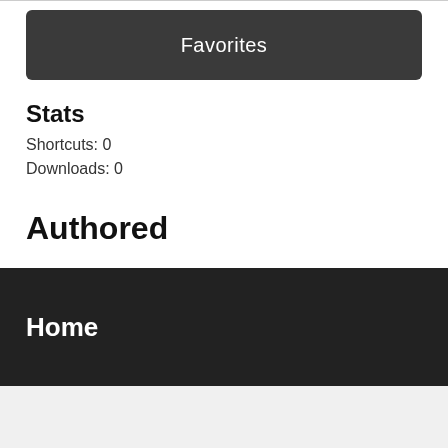Favorites
Stats
Shortcuts: 0
Downloads: 0
Authored
This user hasn't created a shortcut yet.
Home